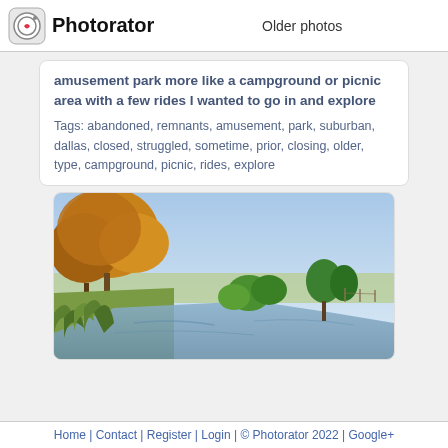Photorator — Older photos
amusement park more like a campground or picnic area with a few rides I wanted to go in and explore
Tags: abandoned, remnants, amusement, park, suburban, dallas, closed, struggled, sometime, prior, closing, older, type, campground, picnic, rides, explore
[Figure (photo): Autumn landscape photo showing a calm river or canal with green reeds and grasses in the foreground, trees with golden/orange foliage on the left, and open fields under a clear blue sky in the background.]
Home | Contact | Register | Login | © Photorator 2022 | Google+